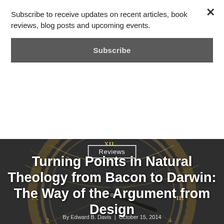Subscribe to receive updates on recent articles, book reviews, blog posts and upcoming events.
Subscribe
Reviews
Turning Points in Natural Theology from Bacon to Darwin: The Way of the Argument from Design
By Edward B. Davis | October 15, 2014